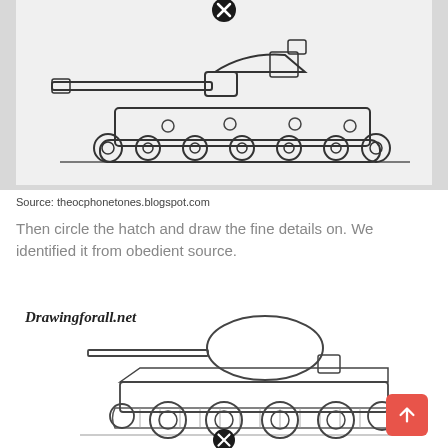[Figure (illustration): Line drawing of a military tank viewed from the side, with a large gun barrel extending to the left, detailed turret, road wheels and tracks. A black circle-X close button appears at the top center of the image.]
Source: theocphonetones.blogspot.com
Then circle the hatch and draw the fine details on. We identified it from obedient source.
[Figure (illustration): Line drawing of a military tank (T-34 style) viewed from the side with 'Drawingforall.net' watermark text in the upper left. The tank has a rounded turret, long gun barrel pointing left, large road wheels. A black circle-X close button appears at the bottom center. A red scroll-to-top button is in the lower right.]